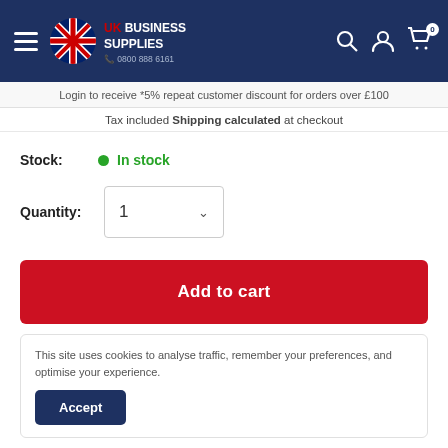UK Business Supplies — 0800 888 6161
Login to receive *5% repeat customer discount for orders over £100
Tax included Shipping calculated at checkout
Stock: In stock
Quantity: 1
Add to cart
This site uses cookies to analyse traffic, remember your preferences, and optimise your experience.
Accept